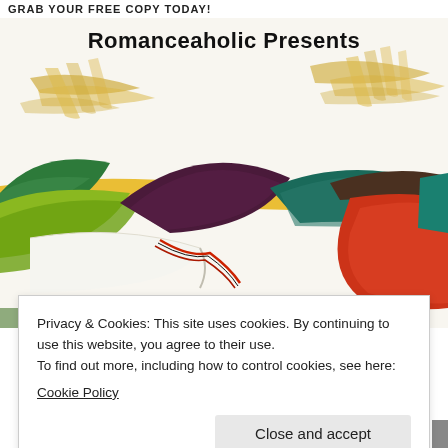GRAB YOUR FREE COPY TODAY!
Romanceaholic Presents
[Figure (illustration): Colorful watercolor-style book cover illustration with abstract mountains in green, yellow, purple, brown, red, and teal colors, with gold brush strokes at top. A white open book with red and black ribbon details is visible in the lower-left and center.]
Privacy & Cookies: This site uses cookies. By continuing to use this website, you agree to their use.
To find out more, including how to control cookies, see here:
Cookie Policy
Close and accept